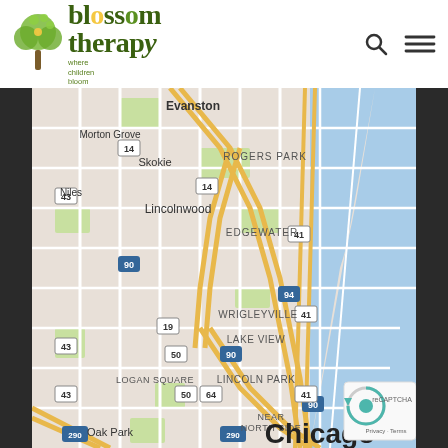Blossom Therapy — where children bloom
[Figure (map): Google Maps showing Chicago area neighborhoods including Evanston, Morton Grove, Skokie, Niles, Lincolnwood, Rogers Park, Edgewater, Wrigleyville, Lake View, Lincoln Park, Logan Square, Near North Side, Oak Park, and Chicago label. Interstate highways 90, 94, 290 and US routes 14, 41, 43, 50, 64, 19 are visible. Lake Michigan is on the right (east). A reCAPTCHA badge appears in the bottom right with Privacy and Terms links.]